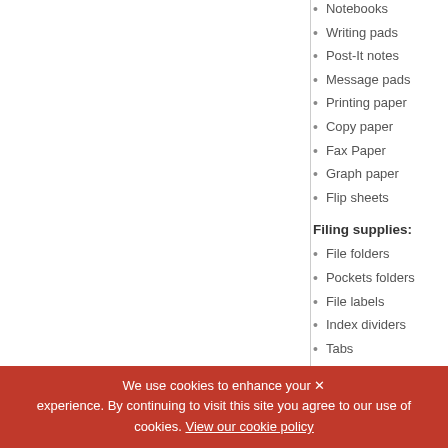Notebooks
Writing pads
Post-It notes
Message pads
Printing paper
Copy paper
Fax Paper
Graph paper
Flip sheets
Filing supplies:
File folders
Pockets folders
File labels
Index dividers
Tabs
Mailing supplies:
Letter envelopes
We use cookies to enhance your experience. By continuing to visit this site you agree to our use of cookies. View our cookie policy